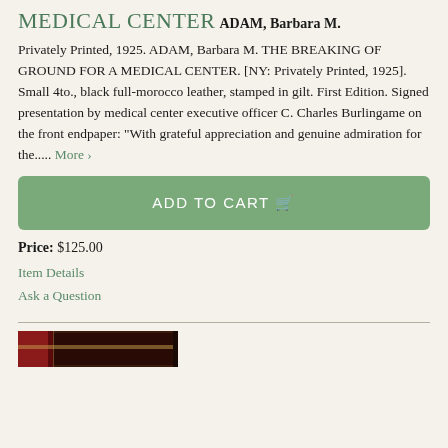MEDICAL CENTER
ADAM, Barbara M.
Privately Printed, 1925. ADAM, Barbara M. THE BREAKING OF GROUND FOR A MEDICAL CENTER. [NY: Privately Printed, 1925]. Small 4to., black full-morocco leather, stamped in gilt. First Edition. Signed presentation by medical center executive officer C. Charles Burlingame on the front endpaper: "With grateful appreciation and genuine admiration for the.....  More ›
ADD TO CART
Price: $125.00
Item Details
Ask a Question
[Figure (photo): Partial view of a book with red and dark cover, photographed from the side/spine angle]